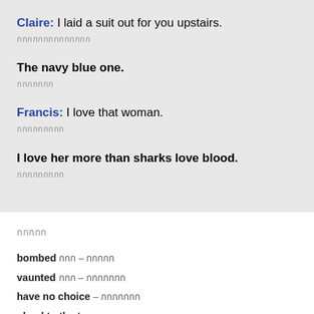Claire: I laid a suit out for you upstairs.
[Thai translation]
The navy blue one.
[Thai translation]
Francis: I love that woman.
[Thai translation]
I love her more than sharks love blood.
[Thai translation]
[Thai section label]
bombed [Thai] – [Thai]
vaunted [Thai] – [Thai]
have no choice – [Thai]
glued to the tv – [Thai]